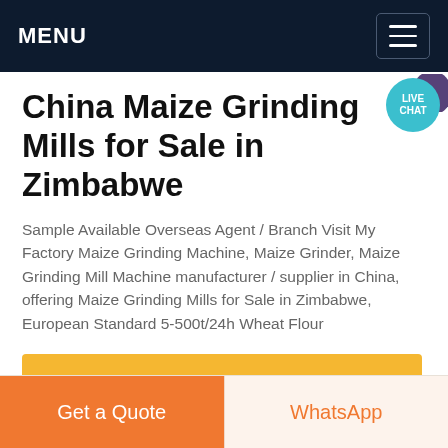MENU
China Maize Grinding Mills for Sale in Zimbabwe
Sample Available Overseas Agent / Branch Visit My Factory Maize Grinding Machine, Maize Grinder, Maize Grinding Mill Machine manufacturer / supplier in China, offering Maize Grinding Mills for Sale in Zimbabwe, European Standard 5-500t/24h Wheat Flour
Get price
Get a Quote | WhatsApp